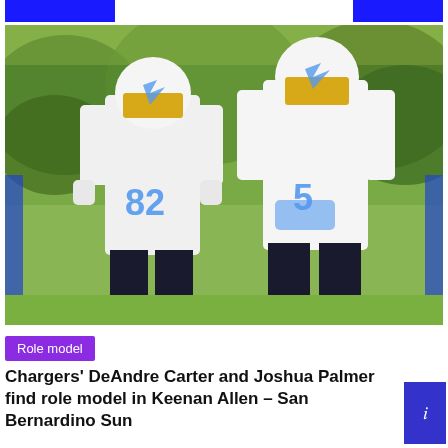[Figure (photo): Two Los Angeles Chargers players in white jerseys with blue numbers during practice. Player number 82 on the left and player number 5 on the right, both wearing white helmets with gold facemasks. Green trees visible in background.]
Role model
Chargers' DeAndre Carter and Joshua Palmer find role model in Keenan Allen – San Bernardino Sun